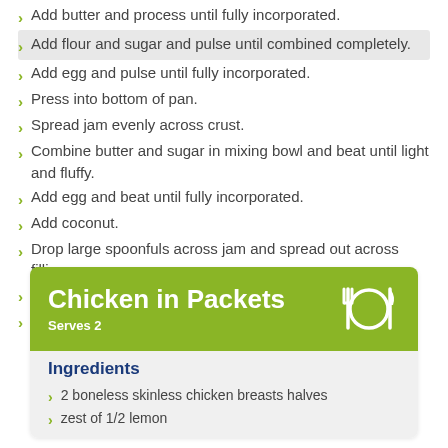Add butter and process until fully incorporated.
Add flour and sugar and pulse until combined completely.
Add egg and pulse until fully incorporated.
Press into bottom of pan.
Spread jam evenly across crust.
Combine butter and sugar in mixing bowl and beat until light and fluffy.
Add egg and beat until fully incorporated.
Add coconut.
Drop large spoonfuls across jam and spread out across filling.
Bake for 30-35 minutes, until coconut is golden brown.
Let cool and chill for at least one hour before cutting.
Chicken in Packets
Serves 2
Ingredients
2 boneless skinless chicken breasts halves
zest of 1/2 lemon